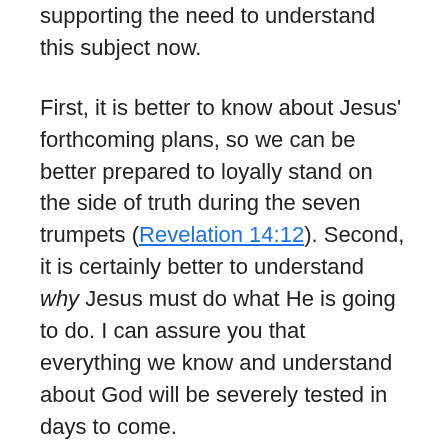supporting the need to understand this subject now.
First, it is better to know about Jesus' forthcoming plans, so we can be better prepared to loyally stand on the side of truth during the seven trumpets (Revelation 14:12). Second, it is certainly better to understand why Jesus must do what He is going to do. I can assure you that everything we know and understand about God will be severely tested in days to come.
Many people will abandon their faith in God when they observe His actions. Tragically, this could be avoided if people would only open their hearts to understand His Word now! We need to understand the seven trumpets now. By beholding the big